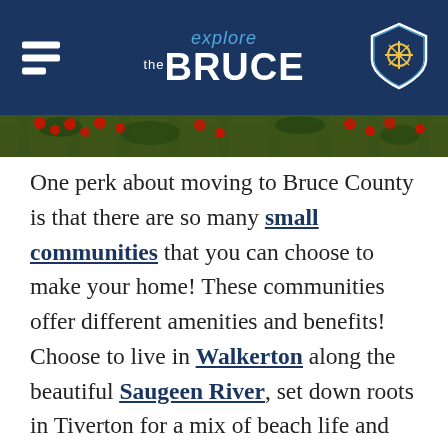explore the BRUCE
[Figure (photo): Partial photo of red berries/flowers with green foliage visible as a strip below the header]
One perk about moving to Bruce County is that there are so many small communities that you can choose to make your home! These communities offer different amenities and benefits! Choose to live in Walkerton along the beautiful Saugeen River, set down roots in Tiverton for a mix of beach life and rural living, and decide on Wiarton to be able to take daytrips up the Bruce Peninsula, or choose Lion's Head to be minutes away from the stunning Georgian Bay lookout points. Almost every community offers local schools, restaurants and downtown shops. The locals are excited to welcome